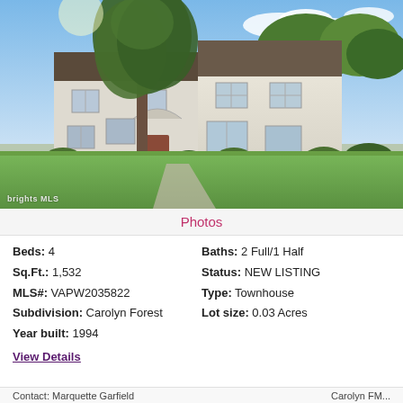[Figure (photo): Exterior front view of a two-story townhouse with white siding, a large tree in the foreground, green lawn, and blue sky with clouds.]
Photos
Beds: 4
Baths: 2 Full/1 Half
Sq.Ft.: 1,532
Status: NEW LISTING
MLS#: VAPW2035822
Type: Townhouse
Subdivision: Carolyn Forest
Lot size: 0.03 Acres
Year built: 1994
View Details